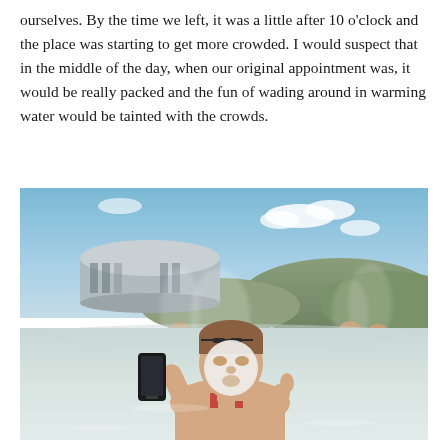ourselves. By the time we left, it was a little after 10 o'clock and the place was starting to get more crowded. I would suspect that in the middle of the day, when our original appointment was, it would be really packed and the fun of wading around in warming water would be tainted with the crowds.
[Figure (photo): A person standing in a geothermal pool (Blue Lagoon, Iceland) with a white silica mud mask on their face, holding a smartphone up in one hand and giving a thumbs up with the other. Steam rises from the milky blue water. A modern round building is visible in the background along with hills and blue sky with clouds. Other visitors can be seen in the background.]